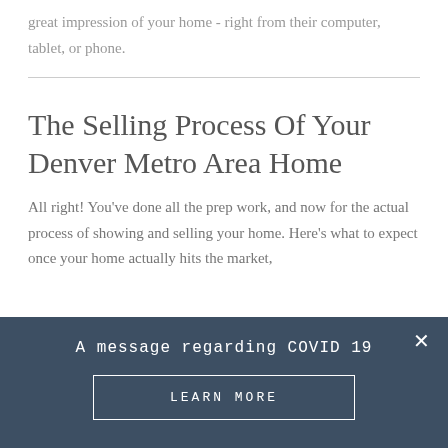great impression of your home - right from their computer, tablet, or phone.
The Selling Process Of Your Denver Metro Area Home
All right! You've done all the prep work, and now for the actual process of showing and selling your home. Here's what to expect once your home actually hits the market,
A message regarding COVID 19
LEARN MORE